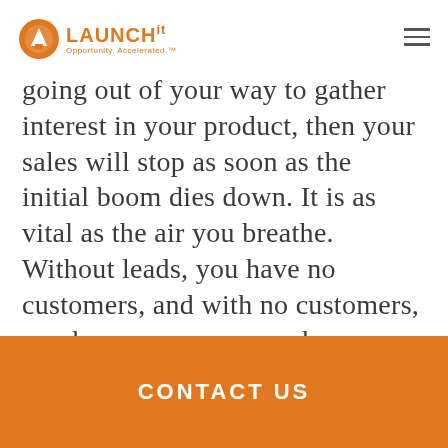LAUNCHIT — Opportunity. Accelerated.™
going out of your way to gather interest in your product, then your sales will stop as soon as the initial boom dies down. It is as vital as the air you breathe. Without leads, you have no customers, and with no customers, you have no revenue and, eventually, no business. Lead generation provides the solutions you need throughout every quarter.
CONTACT US